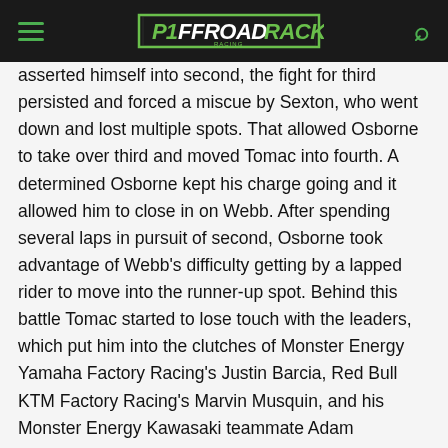OFFROAD TRACKS [logo]
asserted himself into second, the fight for third persisted and forced a miscue by Sexton, who went down and lost multiple spots. That allowed Osborne to take over third and moved Tomac into fourth. A determined Osborne kept his charge going and it allowed him to close in on Webb. After spending several laps in pursuit of second, Osborne took advantage of Webb's difficulty getting by a lapped rider to move into the runner-up spot. Behind this battle Tomac started to lose touch with the leaders, which put him into the clutches of Monster Energy Yamaha Factory Racing's Justin Barcia, Red Bull KTM Factory Racing's Marvin Musquin, and his Monster Energy Kawasaki teammate Adam Cianciarulo, who all eventually got around the No. 1 of Tomac.
Out front, Anderson enjoyed a stress-free race to secure